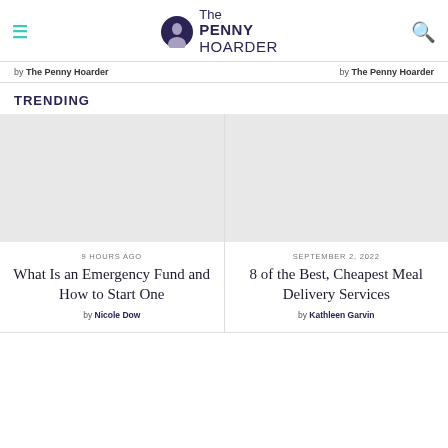The PENNY HOARDER
by The Penny Hoarder   by The Penny Hoarder
TRENDING
[Figure (photo): Article thumbnail image placeholder (grey)]
9 HOURS AGO
What Is an Emergency Fund and How to Start One
by Nicole Dow
[Figure (photo): Article thumbnail image placeholder (grey)]
SEPTEMBER 2, 2022
8 of the Best, Cheapest Meal Delivery Services
by Kathleen Garvin